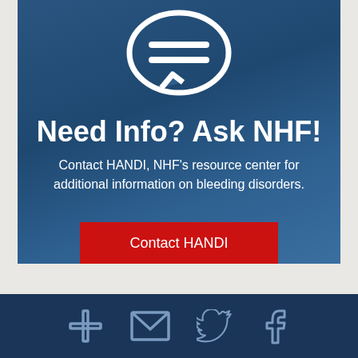[Figure (illustration): White speech bubble icon with two horizontal lines inside, on dark blue background]
Need Info? Ask NHF!
Contact HANDI, NHF's resource center for additional information on bleeding disorders.
Contact HANDI
[Figure (infographic): Bottom dark navy bar with four social/contact icons: plus sign, envelope, Twitter bird, Facebook 'f']